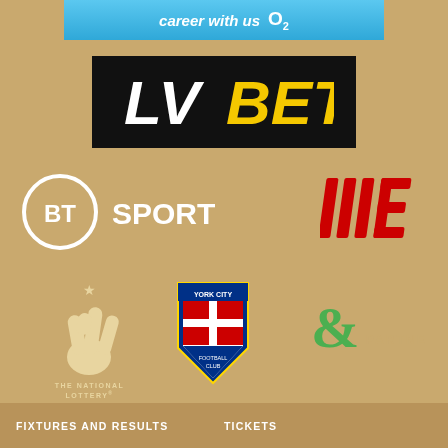[Figure (logo): O2 career with us banner at top]
[Figure (logo): LV BET logo on black background]
[Figure (logo): BT Sport logo]
[Figure (logo): New Balance NB logo in red]
[Figure (logo): The National Lottery crossed fingers logo]
[Figure (logo): York City Football Club crest]
[Figure (logo): & Partners logo in green]
FIXTURES AND RESULTS
TICKETS